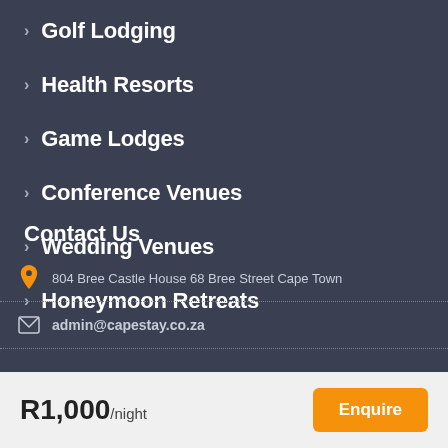> Golf Lodging
> Health Resorts
> Game Lodges
> Conference Venues
> Wedding Venues
> Honeymoon Retreats
Contact Us
804 Bree Castle House 68 Bree Street Cape Town
admin@capestay.co.za
R1,000/night
Enquire